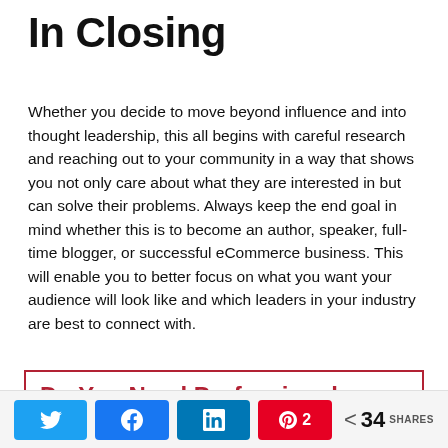In Closing
Whether you decide to move beyond influence and into thought leadership, this all begins with careful research and reaching out to your community in a way that shows you not only care about what they are interested in but can solve their problems. Always keep the end goal in mind whether this is to become an author, speaker, full-time blogger, or successful eCommerce business. This will enable you to better focus on what you want your audience will look like and which leaders in your industry are best to connect with.
Do You Need Professional
[Figure (infographic): Social share bar with Twitter, Facebook, LinkedIn, Pinterest (2), and share count of 34 SHARES]